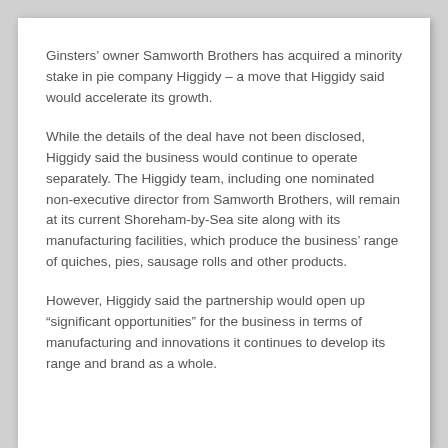Ginsters’ owner Samworth Brothers has acquired a minority stake in pie company Higgidy – a move that Higgidy said would accelerate its growth.
While the details of the deal have not been disclosed, Higgidy said the business would continue to operate separately. The Higgidy team, including one nominated non-executive director from Samworth Brothers, will remain at its current Shoreham-by-Sea site along with its manufacturing facilities, which produce the business’ range of quiches, pies, sausage rolls and other products.
However, Higgidy said the partnership would open up “significant opportunities” for the business in terms of manufacturing and innovations it continues to develop its range and brand as a whole.